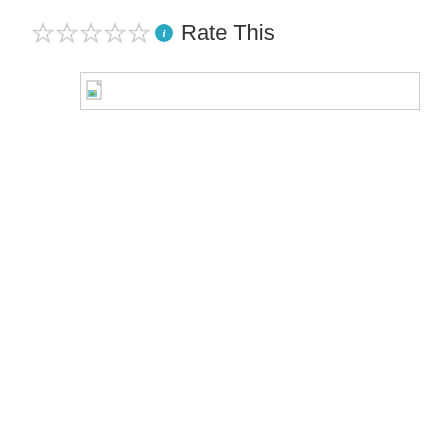[Figure (other): Five empty star rating widgets followed by a teal info icon and the text 'Rate This']
[Figure (other): Broken image placeholder box with a small landscape thumbnail icon and a long empty white bar with border]